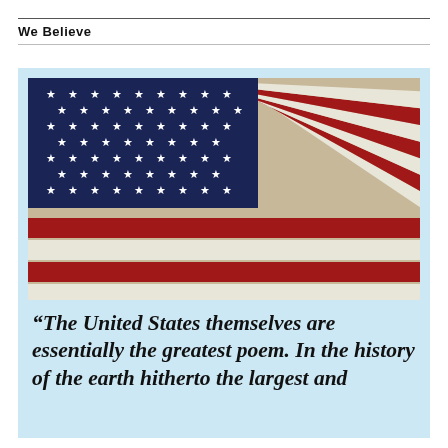We Believe
[Figure (photo): Close-up photograph of the American flag showing the star field in dark blue and red and white stripes at an angle]
“The United States themselves are essentially the greatest poem. In the history of the earth hitherto the largest and